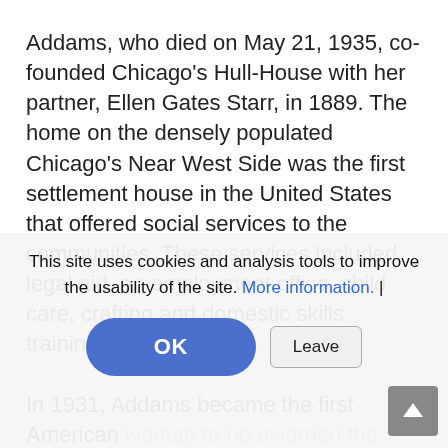Addams, who died on May 21, 1935, co-founded Chicago's Hull-House with her partner, Ellen Gates Starr, in 1889. The home on the densely populated Chicago's Near West Side was the first settlement house in the United States that offered social services to the communities. These services included legal aid, an employment office, child care, crafting and domestic skills training.
In 1931, Addams became the first American woman to be awarded the Nobel Peace Prize and was recognized as the first social work professional in the United States.
What remains of the settlement is now the Hull-
This site uses cookies and analysis tools to improve the usability of the site. More information. | OK Leave